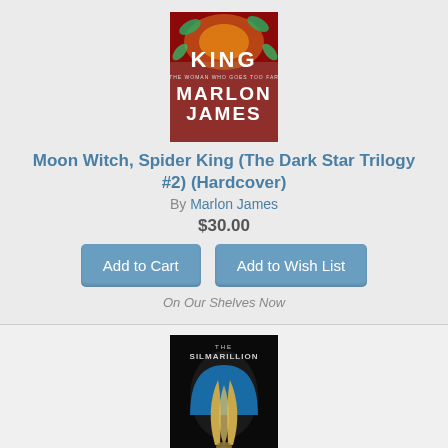[Figure (illustration): Book cover for Moon Witch, Spider King by Marlon James, colorful illustration with text KING MARLON JAMES]
Moon Witch, Spider King (The Dark Star Trilogy #2) (Hardcover)
By Marlon James
$30.00
Add to Cart
Add to Wish List
On Our Shelves Now
[Figure (illustration): Book cover for The Silmarillion by J.R.R. Tolkien, dark cover with golden feather/sword design on blue arch, edited by Christopher Tolkien]
The Silmarillion (Paperback)
By J.R.R. Tolkien